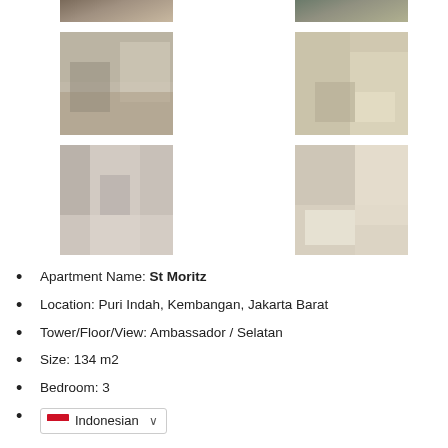[Figure (photo): Apartment interior photo - living room with light decor and balcony view (partially cropped at top)]
[Figure (photo): Apartment interior photo - bathroom and wardrobe area (partially cropped at top)]
[Figure (photo): Apartment interior photo - living room with sofa and natural light]
[Figure (photo): Apartment interior photo - bathroom with toilet and glass shower]
[Figure (photo): Apartment interior photo - entrance hallway with mirror and bench]
[Figure (photo): Apartment interior photo - bedroom with bed and curtains]
Apartment Name: St Moritz
Location: Puri Indah, Kembangan, Jakarta Barat
Tower/Floor/View: Ambassador / Selatan
Size: 134 m2
Bedroom: 3
Indonesian (language selector)